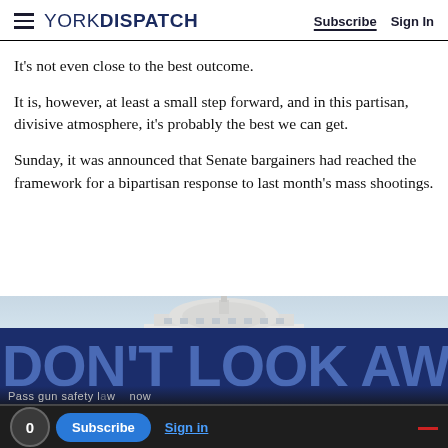YORK DISPATCH — Subscribe  Sign In
It’s not even close to the best outcome.
It is, however, at least a small step forward, and in this partisan, divisive atmosphere, it’s probably the best we can get.
Sunday, it was announced that Senate bargainers had reached the framework for a bipartisan response to last month’s mass shootings.
[Figure (photo): Protest banner reading DON’T LOOK AWAY with the U.S. Capitol dome visible in the background and a crowd holding signs including ‘Pass gun safety law now’]